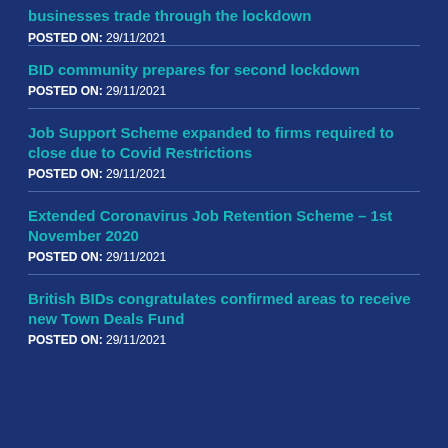businesses trade through the lockdown
POSTED ON: 29/11/2021
BID community prepares for second lockdown
POSTED ON: 29/11/2021
Job Support Scheme expanded to firms required to close due to Covid Restrictions
POSTED ON: 29/11/2021
Extended Coronavirus Job Retention Scheme – 1st November 2020
POSTED ON: 29/11/2021
British BIDs congratulates confirmed areas to receive new Town Deals Fund
POSTED ON: 29/11/2021